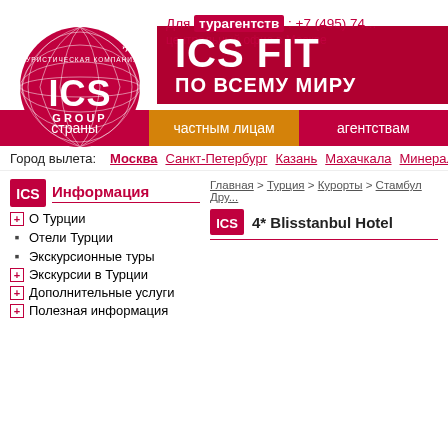[Figure (logo): ICS Group globe logo - red globe with white ICS letters and GROUP text]
Для турагентств : +7 (495) 74... центральный офис в Москве
ICS FIT ПО ВСЕМУ МИРУ
страны | частным лицам | агентствам
Город вылета: Москва Санкт-Петербург Казань Махачкала Минеральные
Информация
Главная > Турция > Курорты > Стамбул Дру...
О Турции
Отели Турции
Экскурсионные туры
Экскурсии в Турции
Дополнительные услуги
Полезная информация
4* Blisstanbul Hotel